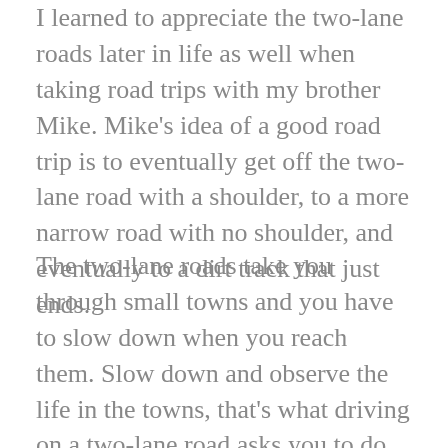I learned to appreciate the two-lane roads later in life as well when taking road trips with my brother Mike. Mike's idea of a good road trip is to eventually get off the two-lane road with a shoulder, to a more narrow road with no shoulder, and eventually to a dirt track that just ends.
The two-lane roads take you through small towns and you have to slow down when you reach them. Slow down and observe the life in the towns, that's what driving on a two-lane road asks you to do. Don't speed by and miss the park, the churches on each corner of the main intersection, the old brick school (or perhaps they have passed a bond issue and have a new, technologically up-to-date one!), the front porches of houses that have seen generations of families lazily enjoying the porch